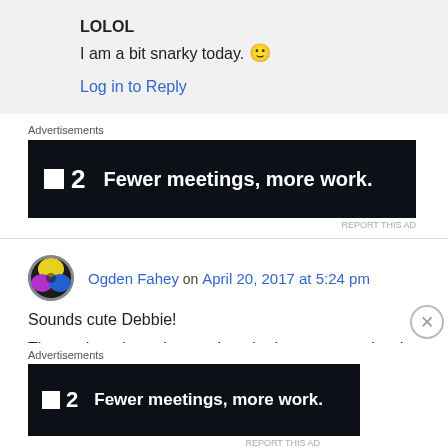LOLOL
I am a bit snarky today. 🙂
Log in to Reply
Advertisements
[Figure (other): Dark advertisement banner for a product with logo showing a square icon and '2', text reads 'Fewer meetings, more work.']
REPORT THIS AD
Ogden Fahey on April 20, 2017 at 5:24 pm
Sounds cute Debbie!
The cat here brought a rat into the house yesterday, I managed to catch it in a biscuit tin, it
Advertisements
[Figure (other): Dark advertisement banner for a product with logo showing a square icon and '2', text reads 'Fewer meetings, more work.']
REPORT THIS AD